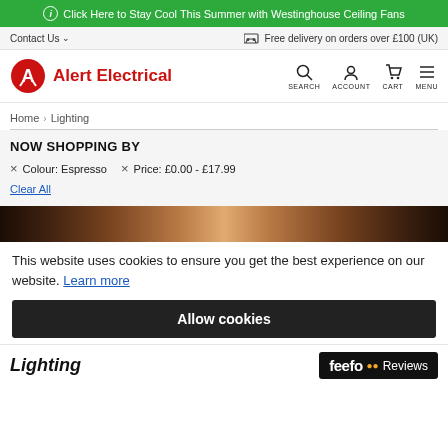Click Here to Stay Cool This Summer with Westinghouse Ceiling Fans
Contact Us   Free delivery on orders over £100 (UK)
[Figure (logo): Alert Electrical logo with red A icon and red text]
SEARCH  ACCOUNT  CART  MENU
Home › Lighting
NOW SHOPPING BY
× Colour: Espresso    × Price: £0.00 - £17.99
Clear All
[Figure (photo): Dark product image strip showing lighting products]
This website uses cookies to ensure you get the best experience on our website. Learn more
Allow cookies
Lighting
[Figure (logo): Feefo Reviews logo on dark background]